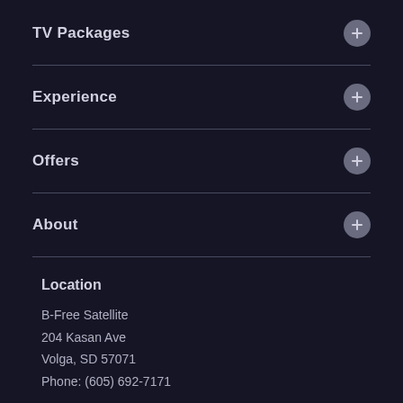TV Packages
Experience
Offers
About
Location
B-Free Satellite
204 Kasan Ave
Volga, SD 57071
Phone: (605) 692-7171
Business Hours